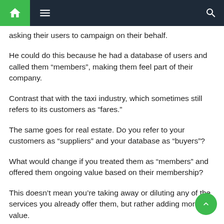Navigation bar with home, menu, and search icons
asking their users to campaign on their behalf.
He could do this because he had a database of users and called them “members”, making them feel part of their company.
Contrast that with the taxi industry, which sometimes still refers to its customers as “fares.”
The same goes for real estate. Do you refer to your customers as “suppliers” and your database as “buyers”?
What would change if you treated them as “members” and offered them ongoing value based on their membership?
This doesn’t mean you’re taking away or diluting any of the services you already offer them, but rather adding more value.